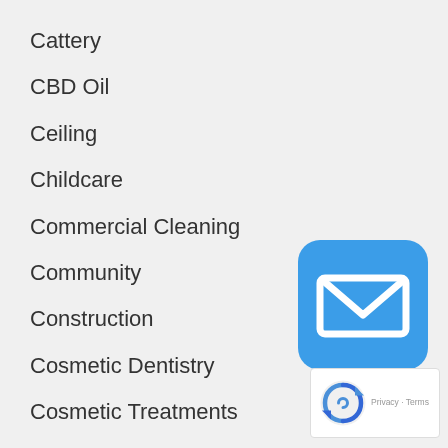Cattery
CBD Oil
Ceiling
Childcare
Commercial Cleaning
Community
Construction
Cosmetic Dentistry
Cosmetic Treatments
Curtains
Deck Restoration
[Figure (logo): Blue rounded square icon with white envelope/mail symbol]
[Figure (logo): reCAPTCHA badge with Privacy and Terms text]